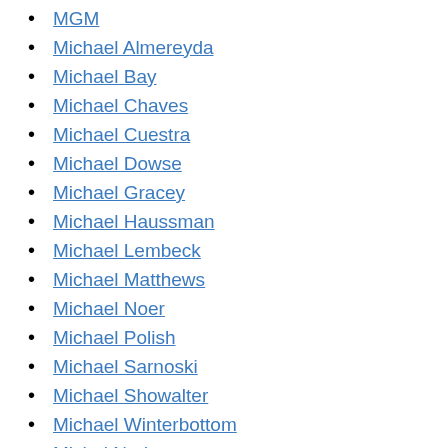MGM
Michael Almereyda
Michael Bay
Michael Chaves
Michael Cuestra
Michael Dowse
Michael Gracey
Michael Haussman
Michael Lembeck
Michael Matthews
Michael Noer
Michael Polish
Michael Sarnoski
Michael Showalter
Michael Winterbottom
Michel Nader
Miguel Arteta
Mikael Marcimain
Mike Burns